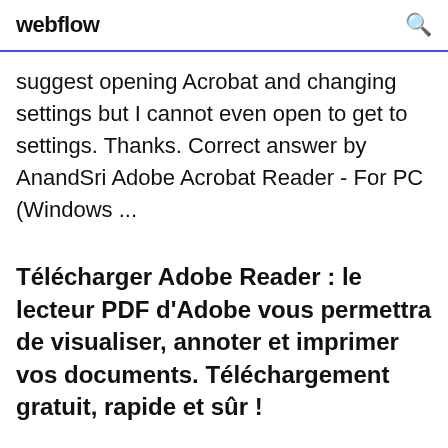webflow
suggest opening Acrobat and changing settings but I cannot even open to get to settings. Thanks. Correct answer by AnandSri Adobe Acrobat Reader - For PC (Windows ...
Télécharger Adobe Reader : le lecteur PDF d'Adobe vous permettra de visualiser, annoter et imprimer vos documents. Téléchargement gratuit, rapide et sûr !
Adobe Reader for PC Windows Free Download